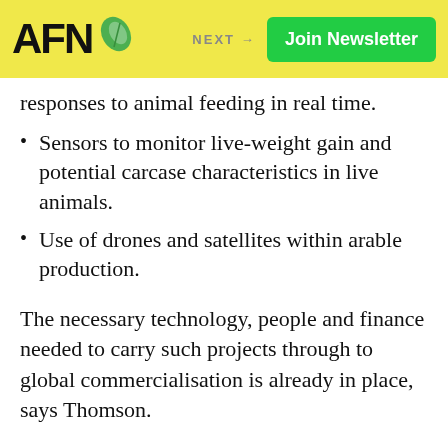AFN | NEXT → | Join Newsletter
responses to animal feeding in real time.
Sensors to monitor live-weight gain and potential carcase characteristics in live animals.
Use of drones and satellites within arable production.
The necessary technology, people and finance needed to carry such projects through to global commercialisation is already in place, says Thomson.
“We’re setting up a structure where some of the biggest UK companies can work with smaller SMEs to develop cutting edge advances, with a talented pool of Harper Adams’ students on site to be